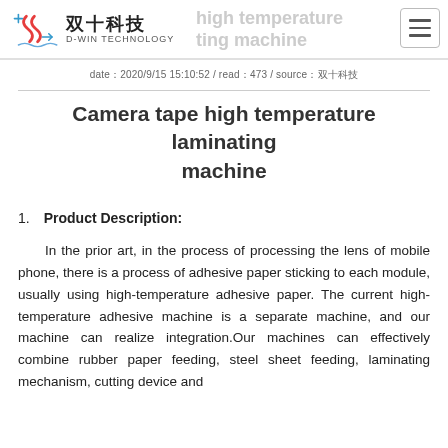D-WIN TECHNOLOGY | Camera tape high temperature laminating machine
date：2020/9/15 15:10:52 / read：473 / source：双十科技
Camera tape high temperature laminating machine
1.   Product Description:
In the prior art, in the process of processing the lens of mobile phone, there is a process of adhesive paper sticking to each module, usually using high-temperature adhesive paper. The current high-temperature adhesive machine is a separate machine, and our machine can realize integration.Our machines can effectively combine rubber paper feeding, steel sheet feeding, laminating mechanism, cutting device and